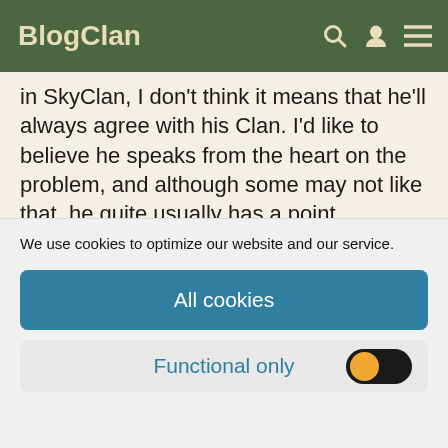BlogClan
in SkyClan, I don't think it means that he'll always agree with his Clan. I'd like to believe he speaks from the heart on the problem, and although some may not like that, he quite usually has a point.
One thing I'd like to see for training though is that the mediator spends time in other Clan. This seems like a wise thing for training, especially since the role is meant for mediating problems. Either way, I still like
We use cookies to optimize our website and our service.
All cookies
Functional only